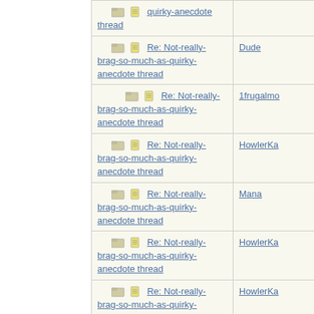| Subject | Author |
| --- | --- |
| Re: Not-really-brag-so-much-as-quirky-anecdote thread (partial) |  |
| Re: Not-really-brag-so-much-as-quirky-anecdote thread | Dude |
| Re: Not-really-brag-so-much-as-quirky-anecdote thread | 1frugalmo |
| Re: Not-really-brag-so-much-as-quirky-anecdote thread | HowlerKa |
| Re: Not-really-brag-so-much-as-quirky-anecdote thread | Mana |
| Re: Not-really-brag-so-much-as-quirky-anecdote thread | HowlerKa |
| Re: Not-really-brag-so-much-as-quirky-anecdote thread | HowlerKa |